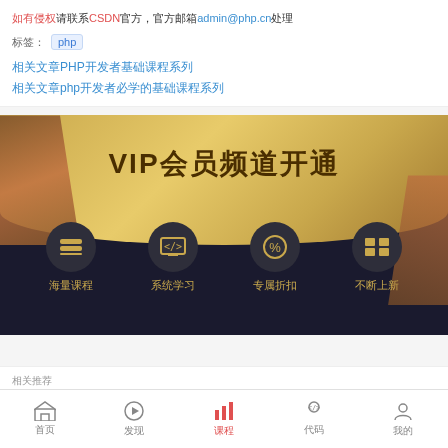如有侵权请联系CSDN官方，官方邮箱admin@php.cn处理
标签：php
相关文章PHP开发者基础课程系列
相关文章php开发者必学的基础课程系列
[Figure (infographic): VIP会员频道开通 promotional banner with gold ribbon design on dark background, featuring four icons: 海量课程 (vast courses), 系统学习 (systematic learning), 专属折扣 (exclusive discounts), 不断上新 (constantly updated)]
首页  发现  课程  代码  我的